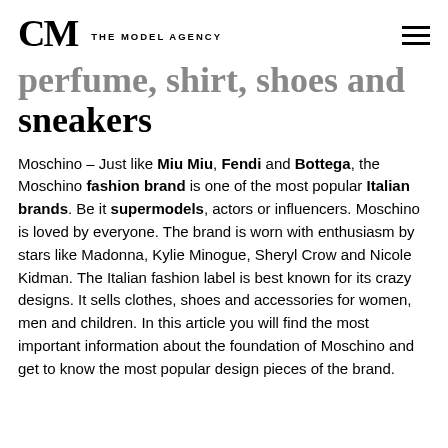CM THE MODEL AGENCY
perfume, shirt, shoes and sneakers
Moschino – Just like Miu Miu, Fendi and Bottega, the Moschino fashion brand is one of the most popular Italian brands. Be it supermodels, actors or influencers. Moschino is loved by everyone. The brand is worn with enthusiasm by stars like Madonna, Kylie Minogue, Sheryl Crow and Nicole Kidman. The Italian fashion label is best known for its crazy designs. It sells clothes, shoes and accessories for women, men and children. In this article you will find the most important information about the foundation of Moschino and get to know the most popular design pieces of the brand.